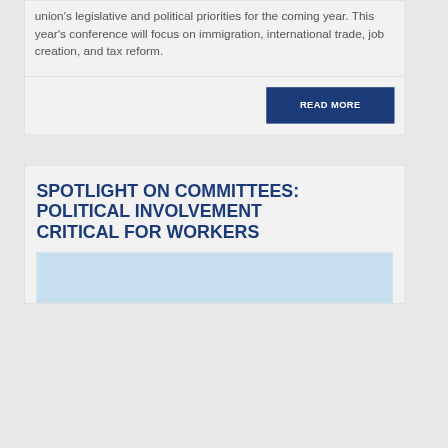union's legislative and political priorities for the coming year. This year's conference will focus on immigration, international trade, job creation, and tax reform.
READ MORE
SPOTLIGHT ON COMMITTEES: POLITICAL INVOLVEMENT CRITICAL FOR WORKERS
[Figure (photo): Light blue image placeholder at the bottom of the page]